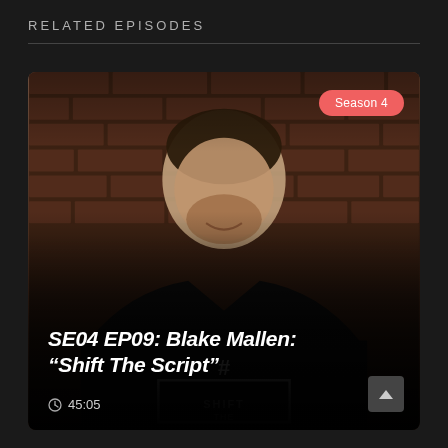RELATED EPISODES
[Figure (photo): Man smiling in front of a brick wall, wearing a black hoodie with '#SHIFT THE SCRIPT' text on it. A pink 'Season 4' badge is in the top right corner of the image.]
SE04 EP09: Blake Mallen: “Shift The Script”
45:05